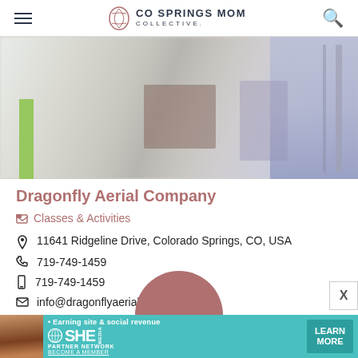CO SPRINGS MOM COLLECTIVE
[Figure (photo): Blurred interior photo showing aerial fitness studio equipment including poles, silks, and equipment in a gymnasium-style space]
Dragonfly Aerial Company
Classes & Activities
11641 Ridgeline Drive, Colorado Springs, CO, USA
719-749-1459
719-749-1459
info@dragonflyaerialco.com
[Figure (infographic): SHE Media Partner Network advertisement banner with woman avatar, 'Earning site & social revenue' text, SHE MEDIA logo, PARTNER NETWORK, BECOME A MEMBER text, and LEARN MORE button on teal background]